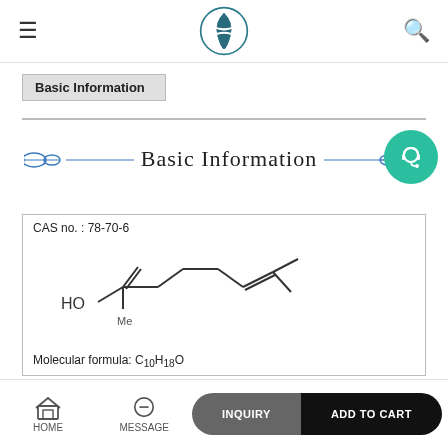Navigation header with logo, menu, and search
Basic Information
[Figure (illustration): Decorative 'Basic Information' banner with ornamental leaf dividers on either side of the text]
[Figure (schematic): Chemical structure of Linalool (CAS 78-70-6), showing molecular structure with HO group, double bonds, and isopropyl group. Molecular formula: C10H18O]
CAS no. : 78-70-6
Molecular formula: C10H18O
HOME | MESSAGE | INQUIRY | ADD TO CART